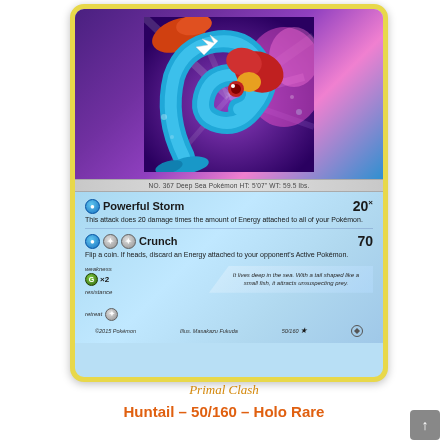[Figure (illustration): Pokémon Trading Card: Huntail from Primal Clash set (50/160), Holo Rare. Card shows Huntail Pokémon artwork against purple/pink background. Card has two attacks: Powerful Storm (20×) and Crunch (70). Weakness: Grass ×2, Retreat: 1 colorless energy. Card number 50/160. Flavor text: It lives deep in the sea. With a tail shaped like a small fish, it attracts unsuspecting prey.]
Primal Clash
Huntail – 50/160 – Holo Rare